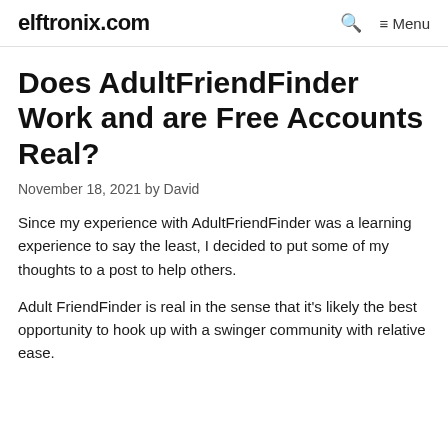elftronix.com  🔍  ≡ Menu
Does AdultFriendFinder Work and are Free Accounts Real?
November 18, 2021 by David
Since my experience with AdultFriendFinder was a learning experience to say the least, I decided to put some of my thoughts to a post to help others.
Adult FriendFinder is real in the sense that it's likely the best opportunity to hook up with a swinger community with relative ease.